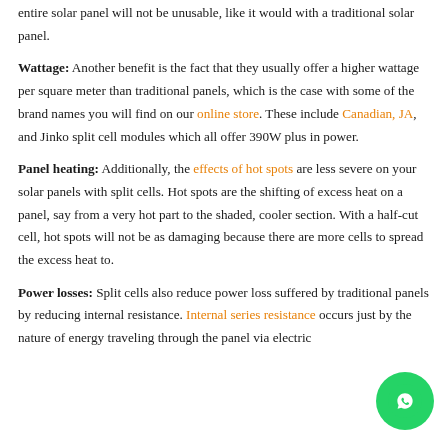entire solar panel will not be unusable, like it would with a traditional solar panel.
Wattage: Another benefit is the fact that they usually offer a higher wattage per square meter than traditional panels, which is the case with some of the brand names you will find on our online store. These include Canadian, JA, and Jinko split cell modules which all offer 390W plus in power.
Panel heating: Additionally, the effects of hot spots are less severe on your solar panels with split cells. Hot spots are the shifting of excess heat on a panel, say from a very hot part to the shaded, cooler section. With a half-cut cell, hot spots will not be as damaging because there are more cells to spread the excess heat to.
Power losses: Split cells also reduce power loss suffered by traditional panels by reducing internal resistance. Internal series resistance occurs just by the nature of energy traveling through the panel via electric...